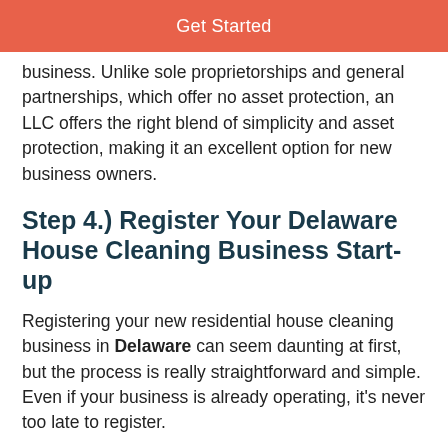Get Started
business. Unlike sole proprietorships and general partnerships, which offer no asset protection, an LLC offers the right blend of simplicity and asset protection, making it an excellent option for new business owners.
Step 4.) Register Your Delaware House Cleaning Business Start-up
Registering your new residential house cleaning business in Delaware can seem daunting at first, but the process is really straightforward and simple. Even if your business is already operating, it's never too late to register.
By registering your new house cleaning business,